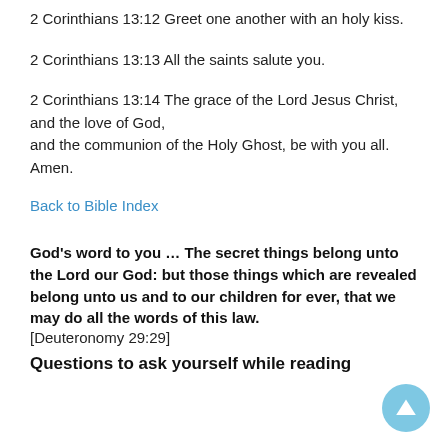2 Corinthians 13:12 Greet one another with an holy kiss.
2 Corinthians 13:13 All the saints salute you.
2 Corinthians 13:14 The grace of the Lord Jesus Christ, and the love of God, and the communion of the Holy Ghost, be with you all. Amen.
Back to Bible Index
God's word to you … The secret things belong unto the Lord our God: but those things which are revealed belong unto us and to our children for ever, that we may do all the words of this law. [Deuteronomy 29:29]
Questions to ask yourself while reading